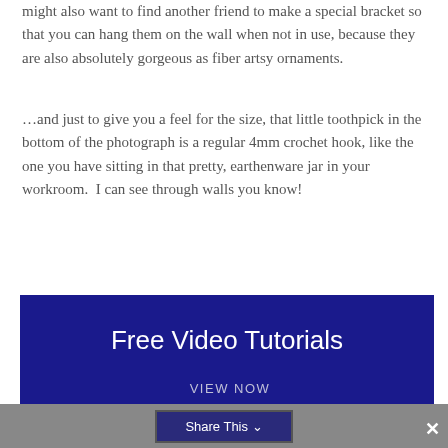might also want to find another friend to make a special bracket so that you can hang them on the wall when not in use, because they are also absolutely gorgeous as fiber artsy ornaments.
…and just to give you a feel for the size, that little toothpick in the bottom of the photograph is a regular 4mm crochet hook, like the one you have sitting in that pretty, earthenware jar in your workroom.  I can see through walls you know!
[Figure (infographic): Dark navy blue banner advertising Free Video Tutorials covering knitting, spinning, crochet, weaving, rag rugs, fibre cleaning and more, with a VIEW NOW button at the bottom.]
Share This